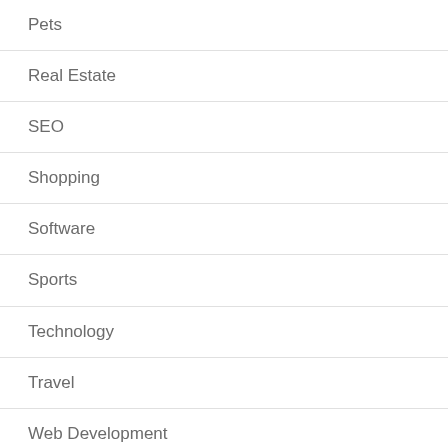Pets
Real Estate
SEO
Shopping
Software
Sports
Technology
Travel
Web Development
Meta
Log in